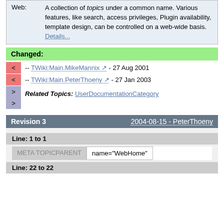| Web: | Description |
| --- | --- |
| Web: | A collection of topics under a common name. Various features, like search, access privileges, Plugin availability, template design, can be controlled on a web-wide basis. Details... |
Changed:
-- TWiki:Main.MikeMannix - 27 Aug 2001
-- TWiki:Main.PeterThoeny - 27 Jan 2003
Related Topics: UserDocumentationCategory
Revision 3   2004-08-15 - PeterThoeny
Line: 1 to 1
| META TOPICPARENT | value |
| --- | --- |
| META TOPICPARENT | name="WebHome" |
Line: 22 to 22